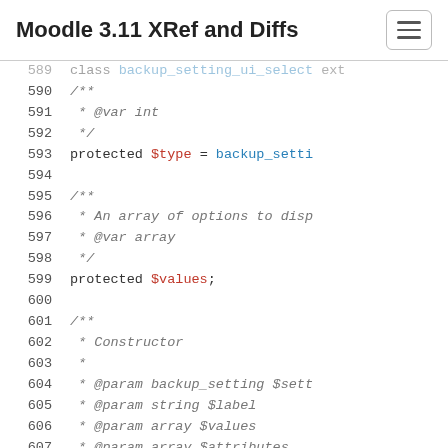Moodle 3.11 XRef and Diffs
Code listing lines 589-607: PHP class backup_setting_ui_select source code
589   class backup_setting_ui_select ext
590       /**
591        * @var int
592        */
593       protected $type = backup_setti
594
595       /**
596        * An array of options to disp
597        * @var array
598        */
599       protected $values;
600
601       /**
602        * Constructor
603        *
604        * @param backup_setting $sett
605        * @param string $label
606        * @param array $values
607        * @param array $attributes